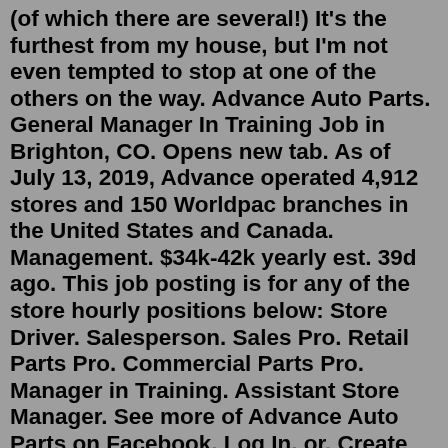(of which there are several!) It's the furthest from my house, but I'm not even tempted to stop at one of the others on the way. Advance Auto Parts. General Manager In Training Job in Brighton, CO. Opens new tab. As of July 13, 2019, Advance operated 4,912 stores and 150 Worldpac branches in the United States and Canada. Management. $34k-42k yearly est. 39d ago. This job posting is for any of the store hourly positions below: Store Driver. Salesperson. Sales Pro. Retail Parts Pro. Commercial Parts Pro. Manager in Training. Assistant Store Manager. See more of Advance Auto Parts on Facebook. Log In. or. Create new account. See more of Advance Auto Parts on Facebook. ... Automotive Parts Store. Interstate ... 8 reviews of Advance Auto Parts "Visited this location today and it's only the second day they've been open. I just needed some new windshield wiper blades and ended up being pleasantly surprised on the service I received. Victor helped me find the wipers I needed which were on a buy one get one free deal. Advance Auto Parts. General Manager In Training Job in